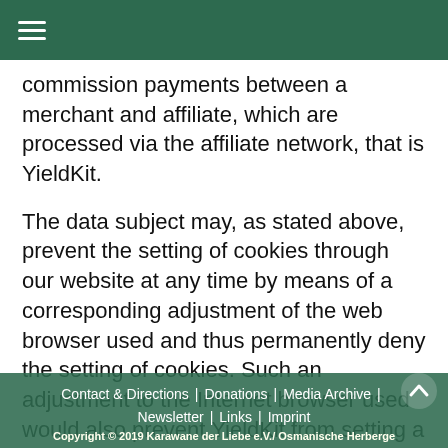≡
commission payments between a merchant and affiliate, which are processed via the affiliate network, that is YieldKit.
The data subject may, as stated above, prevent the setting of cookies through our website at any time by means of a corresponding adjustment of the web browser used and thus permanently deny the setting of cookies. Such an adjustment to the Internet browser used would also prevent YieldKit from setting a cookie on the information technology system of the data subject. In addition, cookies already in use by YieldKit may be deleted at any time via a
Contact & Directions | Donations | Media Archive | Newsletter | Links | Imprint
Copyright © 2019 Karawane der Liebe e.V./ Osmanische Herberge